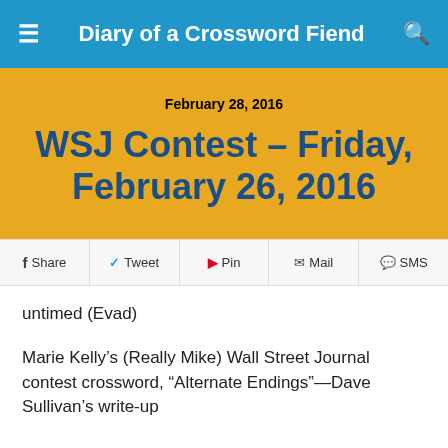Diary of a Crossword Fiend
February 28, 2016
WSJ Contest – Friday, February 26, 2016
Share  Tweet  Pin  Mail  SMS
untimed (Evad)
Marie Kelly's (Really Mike) Wall Street Journal contest crossword, “Alternate Endings”—Dave Sullivan’s write-up